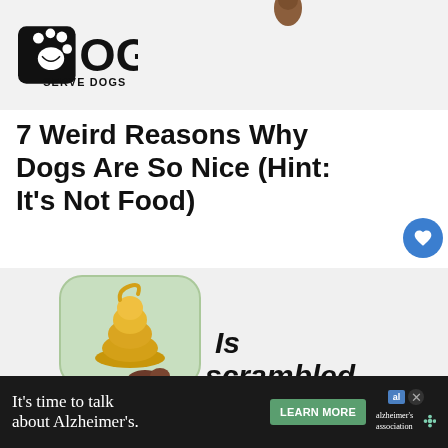[Figure (logo): Dog Serve Dogs logo with paw print icon in a black rounded square and the text DOG SERVE DOGS]
7 Weird Reasons Why Dogs Are So Nice (Hint: It's Not Food)
[Figure (illustration): Illustration showing a dog paw holding a speech bubble with a poop emoji inside, with text 'Is scrambled' overlaid, and a 'What's Next' card showing 'Can dogs eat cherries - Si...' with cherry image]
1
[Figure (infographic): Ad banner: It's time to talk about Alzheimer's. LEARN MORE button, Alzheimer's association logo with close button]